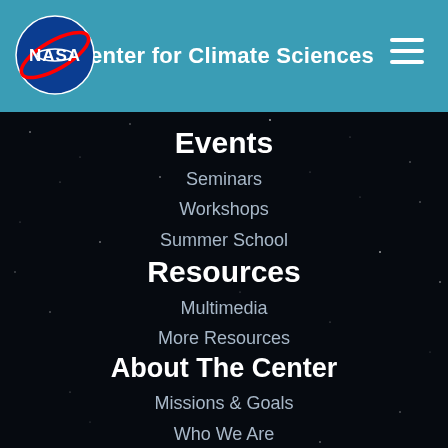Center for Climate Sciences
Events
Seminars
Workshops
Summer School
Resources
Multimedia
More Resources
About The Center
Missions & Goals
Who We Are
Advisory Board